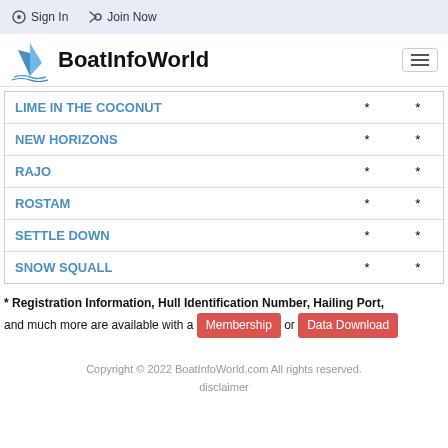Sign In  Join Now
[Figure (logo): BoatInfoWorld sailboat logo with text BoatInfoWorld]
| Name | Col2 | Col3 |
| --- | --- | --- |
| LIME IN THE COCONUT | * | * |
| NEW HORIZONS | * | * |
| RAJO | * | * |
| ROSTAM | * | * |
| SETTLE DOWN | * | * |
| SNOW SQUALL | * | * |
* Registration Information, Hull Identification Number, Hailing Port, and much more are available with a Membership or Data Download
Copyright © 2022 BoatInfoWorld.com All rights reserved. disclaimer